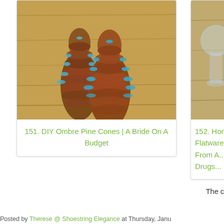[Figure (photo): Photo of DIY ombre pine cones with blue tips on a wooden surface]
151. DIY Ombre Pine Cones | A Bride On A Budget
[Figure (photo): Partial photo of homemade flatware from a drugstore, partially cropped]
152. Hom... Flatware... From A... Drugs...
The c
Posted by Therese @ Shoestring Elegance at Thursday, Janu...